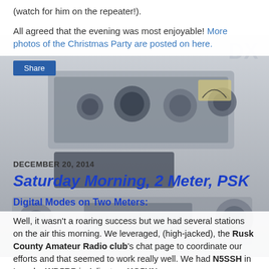(watch for him on the repeater!).
All agreed that the evening was most enjoyable! More photos of the Christmas Party are posted on here.
[Figure (photo): Background photo of amateur radio transceiver equipment with knobs and dials]
Share
DECEMBER 20, 2014
Saturday Morning, 2 Meter, PSK
Digital Modes on Two Meters:
Well, it wasn't a roaring success but we had several stations on the air this morning. We leveraged, (high-jacked), the Rusk County Amateur Radio club's chat page to coordinate our efforts and that seemed to work really well. We had N5SSH in Laredo, WD5RP in Arlington, KG5UN